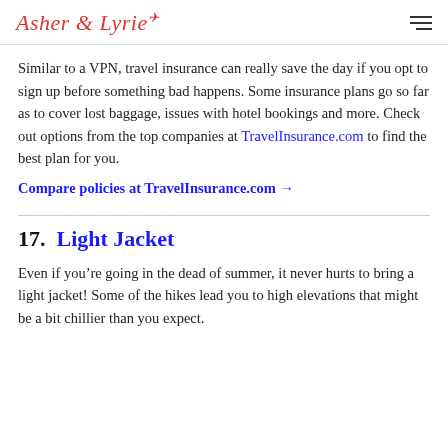Asher & Lyrie
Similar to a VPN, travel insurance can really save the day if you opt to sign up before something bad happens. Some insurance plans go so far as to cover lost baggage, issues with hotel bookings and more. Check out options from the top companies at TravelInsurance.com to find the best plan for you.
Compare policies at TravelInsurance.com →
17.  Light Jacket
Even if you're going in the dead of summer, it never hurts to bring a light jacket! Some of the hikes lead you to high elevations that might be a bit chillier than you expect.